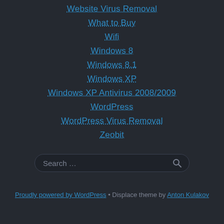Website Virus Removal
What to Buy
Wifi
Windows 8
Windows 8.1
Windows XP
Windows XP Antivirus 2008/2009
WordPress
WordPress Virus Removal
Zeobit
Proudly powered by WordPress • Displace theme by Anton Kulakov